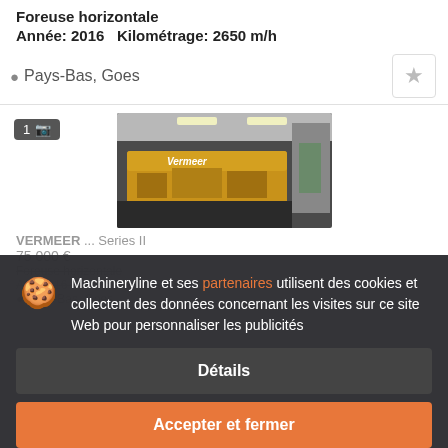Foreuse horizontale
Année: 2016   Kilométrage: 2650 m/h
Pays-Bas, Goes
[Figure (photo): Photo of a Vermeer horizontal drilling machine in a warehouse/industrial building]
VERMEER ... Series II
75 000 €
Foreuse horizontale
Année: 2016   Kilométrage: 2650 m/h
Pays-Bas, Goes
Machineryline et ses partenaires utilisent des cookies et collectent des données concernant les visites sur ce site Web pour personnaliser les publicités
Détails
Accepter et fermer